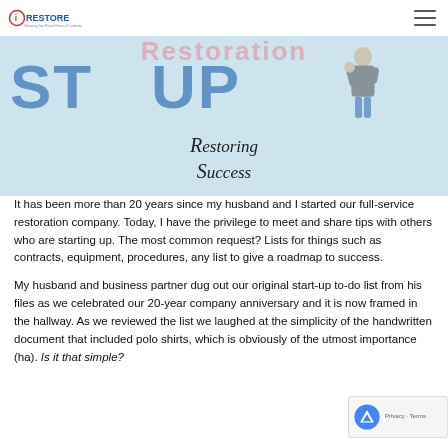iRESTORE logo and navigation menu
[Figure (illustration): Hero banner image with light blue background showing large stylized text 'STARTUP' in dark blue, 'Restoration' watermark text in pink at top, a Rosie the Riveter style figure, and 'Restoring Success' script text at bottom center]
It has been more than 20 years since my husband and I started our full-service restoration company. Today, I have the privilege to meet and share tips with others who are starting up. The most common request? Lists for things such as contracts, equipment, procedures, any list to give a roadmap to success.
My husband and business partner dug out our original start-up to-do list from his files as we celebrated our 20-year company anniversary and it is now framed in the hallway. As we reviewed the list we laughed at the simplicity of the handwritten document that included polo shirts, which is obviously of the utmost importance (ha). Is it that simple?